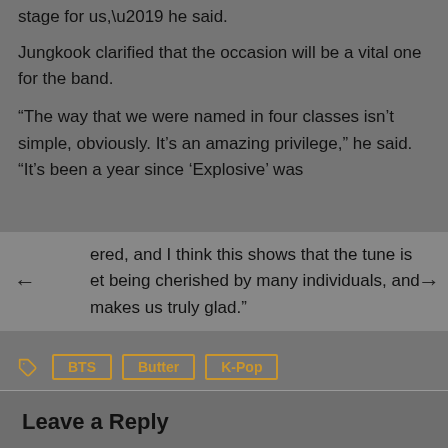stage for us,' he said.
Jungkook clarified that the occasion will be a vital one for the band.
“The way that we were named in four classes isn’t simple, obviously. It’s an amazing privilege,” he said. “It’s been a year since ‘Explosive’ was ered, and I think this shows that the tune is et being cherished by many individuals, and makes us truly glad.”
BTS
Butter
K-Pop
Leave a Reply
Your email address will not be published. Required fields are